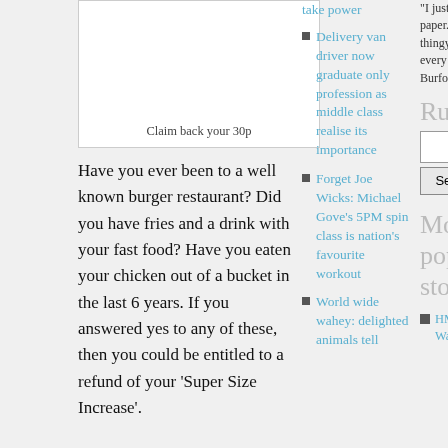[Figure (other): Advertisement box with caption 'Claim back your 30p']
Claim back your 30p
Have you ever been to a well known burger restaurant? Did you have fries and a drink with your fast food? Have you eaten your chicken out of a bucket in the last 6 years. If you answered yes to any of these, then you could be entitled to a refund of your ‘Super Size Increase’.
Many fast food outlets have been mis-selling SSI for years, but new government legislation means you could claim back all of those 30p’s. You have been mis-sold SSI if you went extra large
take power
Delivery van driver now graduate only profession as middle class realise its importance
Forget Joe Wicks: Michael Gove’s 5PM spin class is nation’s favourite workout
World wide wahey: delighted animals tell
"I just love this paper.... site... web thingy. Makes my day, every day" - Phil Burfoot
Rumma
Most popular stories
HMS Prince of Wales: calls for